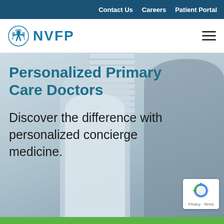Contact Us   Careers   Patient Portal
[Figure (logo): NVFP logo with stylized human figure icon in teal/blue, followed by bold teal text 'NVFP']
[Figure (photo): Two masked medical professionals in a clinical setting, one in a white coat (doctor) and one patient, appearing to conduct an examination. Background shows blinds and medical office decor.]
Personalized Primary Care Doctors
Discover the difference with personalized concierge medicine.
[Figure (other): Google reCAPTCHA badge with Privacy and Terms links]